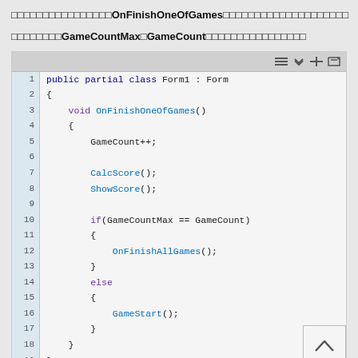以下のコードはOnFinishOneOfGamesメソッドの実装例です。
条件式にGameCountMaxとGameCountを使っています。
[Figure (screenshot): C# code snippet showing public partial class Form1 with OnFinishOneOfGames method implementation including GameCount++, CalcScore(), ShowScore(), if/else with OnFinishAllGames() and GameStart()]
OnFinishAllGamesメソッドについては次のセクションで説明します。